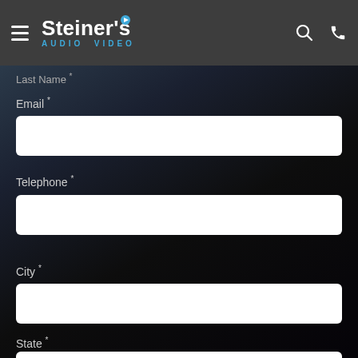[Figure (logo): Steiner's Audio Video logo with play button icon on dark grey navigation bar]
Last Name *
Email *
Telephone *
City *
State *